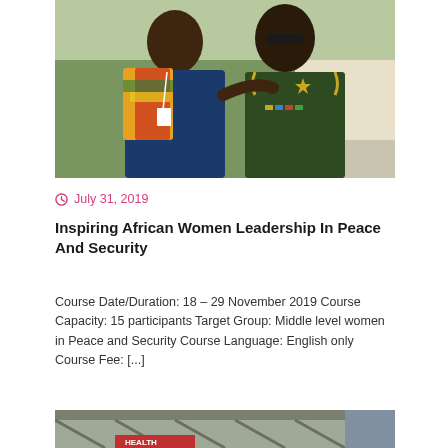[Figure (photo): Two women standing outdoors — one in colorful African print jacket with a lanyard badge, the other in a dark green military uniform with rank insignia and medals.]
July 31, 2019
Inspiring African Women Leadership In Peace And Security
Course Date/Duration: 18 – 29 November 2019 Course Capacity: 15 participants Target Group: Middle level women in Peace and Security Course Language: English only Course Fee: [...]
[Figure (photo): Partial photo of a building exterior with a red sign, bottom of page.]